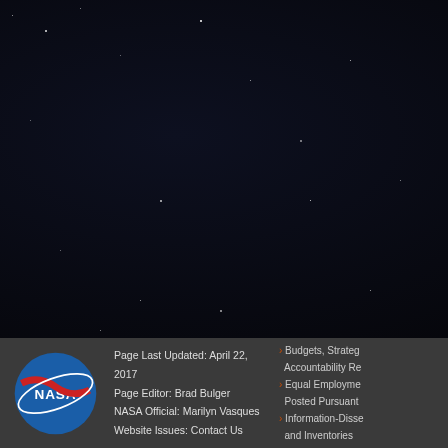[Figure (screenshot): NASA website screenshot showing a partial table of instruments with columns Title, Acronym, and Contact Person. Rows include PAN and Trace Hydrohalocarbon ExpeRiment (PANTHER), Programmable Flask Package Whole Air Sampler (PFP), and UAS Chromatograph for Atmospheric Trace Species (UCATS). An XLS download button appears below the table. The left portion shows a dark starfield background.]
| Title | Acronym | Contact Person |
| --- | --- | --- |
| PAN and Trace Hydrohalocarbon ExpeRiment | PANTHER | Ja... El... (C... |
| Programmable Flask Package Whole Air Sampler | PFP | S... (S... M... (P... |
| UAS Chromatograph for Atmospheric Trace Species | UCATS | B... (P... |
Page Last Updated: April 22, 2017 | Page Editor: Brad Bulger | NASA Official: Marilyn Vasques | Website Issues: Contact Us | Budgets, Strategies and Accountability Reports | Equal Employment Posted Pursuant | Information-Dissemination and Inventories